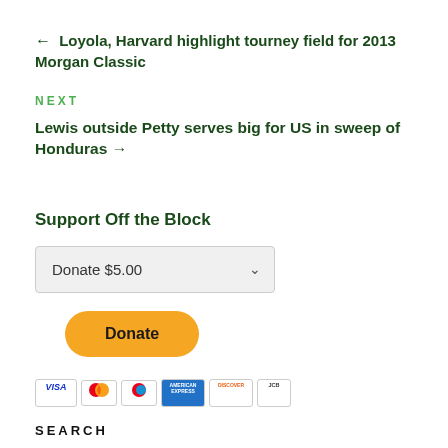← Loyola, Harvard highlight tourney field for 2013 Morgan Classic
NEXT
Lewis outside Petty serves big for US in sweep of Honduras →
Support Off the Block
Donate $5.00
Donate
[Figure (other): Payment method icons: Visa, Mastercard, Discover, American Express, JCB]
SEARCH